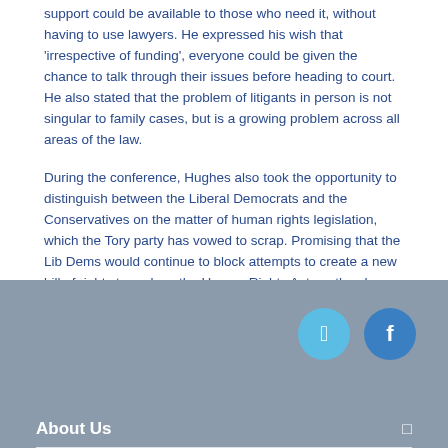support could be available to those who need it, without having to use lawyers. He expressed his wish that 'irrespective of funding', everyone could be given the chance to talk through their issues before heading to court. He also stated that the problem of litigants in person is not singular to family cases, but is a growing problem across all areas of the law.
During the conference, Hughes also took the opportunity to distinguish between the Liberal Democrats and the Conservatives on the matter of human rights legislation, which the Tory party has vowed to scrap. Promising that the Lib Dems would continue to block attempts to create a new bill of rights to replace the Human Rights Act, as they have done since 1998, Hughes stated that 'we will always stand up for human rights'.
[Figure (other): Footer area with social media buttons (Twitter and Facebook) and About Us section with divider line on grey background]
About Us